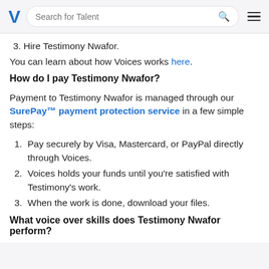Search for Talent
3. Hire Testimony Nwafor.
You can learn about how Voices works here.
How do I pay Testimony Nwafor?
Payment to Testimony Nwafor is managed through our SurePay™ payment protection service in a few simple steps:
1. Pay securely by Visa, Mastercard, or PayPal directly through Voices.
2. Voices holds your funds until you're satisfied with Testimony's work.
3. When the work is done, download your files.
What voice over skills does Testimony Nwafor perform?